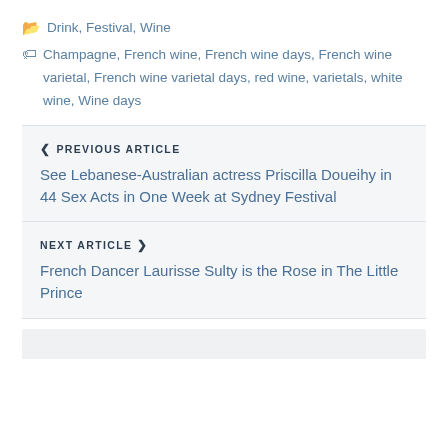Drink, Festival, Wine
Champagne, French wine, French wine days, French wine varietal, French wine varietal days, red wine, varietals, white wine, Wine days
PREVIOUS ARTICLE
See Lebanese-Australian actress Priscilla Doueihy in 44 Sex Acts in One Week at Sydney Festival
NEXT ARTICLE
French Dancer Laurisse Sulty is the Rose in The Little Prince